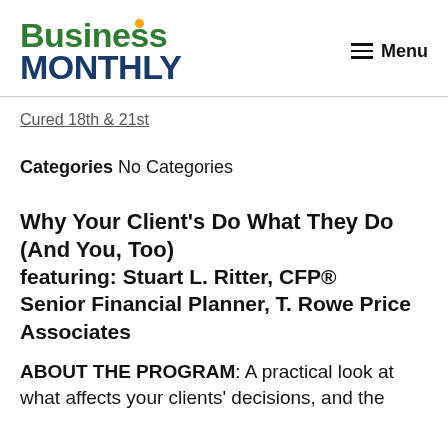Business Monthly — Menu
Cured 18th & 21st
Categories No Categories
Why Your Client's Do What They Do (And You, Too) featuring: Stuart L. Ritter, CFP® Senior Financial Planner, T. Rowe Price Associates
ABOUT THE PROGRAM: A practical look at what affects your clients' decisions, and the